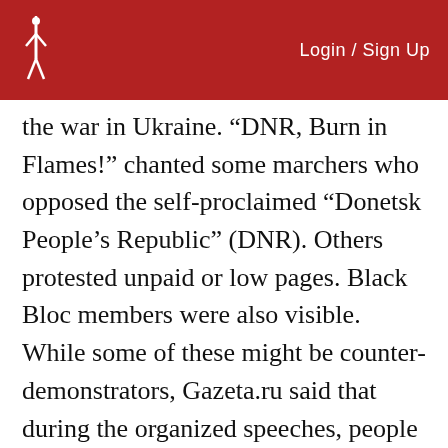Login / Sign Up
the war in Ukraine. “DNR, Burn in Flames!” chanted some marchers who opposed the self-proclaimed “Donetsk People’s Republic” (DNR). Others protested unpaid or low pages. Black Bloc members were also visible. While some of these might be counter-demonstrators, Gazeta.ru said that during the organized speeches, people also opposed the wars in Ukraine and Syria as harmful to Russia and cursed the “Kremlin puppets” in the State...